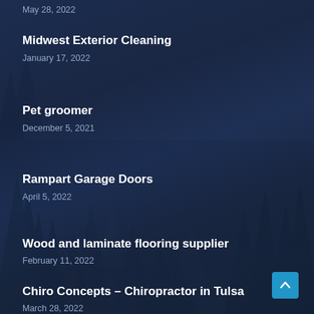May 28, 2022
Midwest Exterior Cleaning
January 17, 2022
Pet groomer
December 5, 2021
Rampart Garage Doors
April 5, 2022
Wood and laminate flooring supplier
February 11, 2022
Chiro Concepts – Chiropractor in Tulsa
March 28, 2022